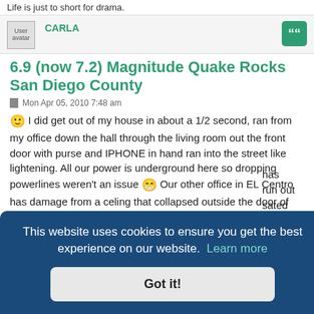Life is just to short for drama.
CARLA
6.9 (now 7.2) Magnitude Quake Rocks San Diego County
Mon Apr 05, 2010 7:48 am
I did get out of my house in about a 1/2 second, ran from my office down the hall through the living room out the front door with purse and IPHONE in hand ran into the street like lightening. All our power is underground here so dropping powerlines weren't an issue 😁 Our other office in EL Centro has damage from a celing that collapsed outside the door of the office in a walkway.
has run out sated ng.
This website uses cookies to ensure you get the best experience on our website. Learn more
Got it!